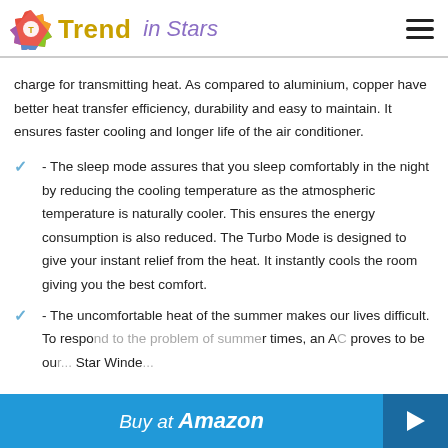Trend in Stars
charge for transmitting heat. As compared to aluminium, copper have better heat transfer efficiency, durability and easy to maintain. It ensures faster cooling and longer life of the air conditioner.
- The sleep mode assures that you sleep comfortably in the night by reducing the cooling temperature as the atmospheric temperature is naturally cooler. This ensures the energy consumption is also reduced. The Turbo Mode is designed to give your instant relief from the heat. It instantly cools the room giving you the best comfort.
- The uncomfortable heat of the summer makes our lives difficult. To respond to the problem of summer times, an AC proves to be our ... Star Winde... AC from...
[Figure (other): Buy at Amazon button overlay at bottom of page]